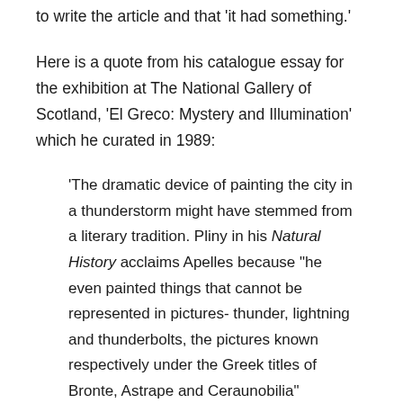to write the article and that 'it had something.'
Here is a quote from his catalogue essay for the exhibition at The National Gallery of Scotland, 'El Greco: Mystery and Illumination' which he curated in 1989:
'The dramatic device of painting the city in a thunderstorm might have stemmed from a literary tradition. Pliny in his Natural History acclaims Apelles because "he even painted things that cannot be represented in pictures- thunder, lightning and thunderbolts, the pictures known respectively under the Greek titles of Bronte, Astrape and Ceraunobilia" (XXV.97). Artistically, El Greco is clearly responding to the tradition established by Giorgone in his "tempest" which might have been inspired by the same literary source. Yet El Greco has extended Giorgione's image by